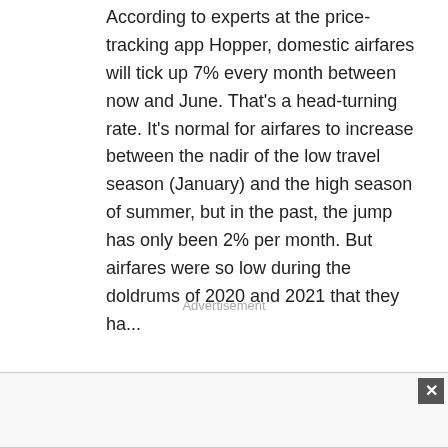According to experts at the price-tracking app Hopper, domestic airfares will tick up 7% every month between now and June. That's a head-turning rate. It's normal for airfares to increase between the nadir of the low travel season (January) and the high season of summer, but in the past, the jump has only been 2% per month. But airfares were so low during the doldrums of 2020 and 2021 that they ha...
Advertisement